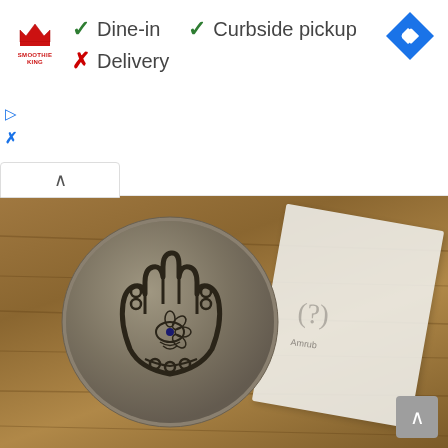[Figure (screenshot): Google Maps business listing screenshot showing Smoothie King logo with service options: Dine-in (checkmark), Curbside pickup (checkmark), Delivery (X). Navigation arrow button in top right. Collapse chevron button below. Main area shows a photo of a round stone/clay tablet with a Hamsa hand symbol carved into it, resting on what appears to be paper, on a wooden surface.]